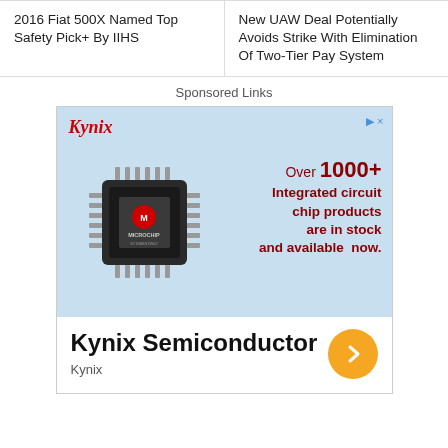2016 Fiat 500X Named Top Safety Pick+ By IIHS
New UAW Deal Potentially Avoids Strike With Elimination Of Two-Tier Pay System
Sponsored Links
[Figure (infographic): Kynix advertisement showing a Microchip integrated circuit chip on a light blue background with red text reading 'Over 1000+ Integrated circuit chip products are in stock and available now.' The Kynix logo appears in red italic font top left. Bottom white section shows 'Kynix Semiconductor' in bold black text with 'Kynix' below it and an orange circle with a right arrow.]